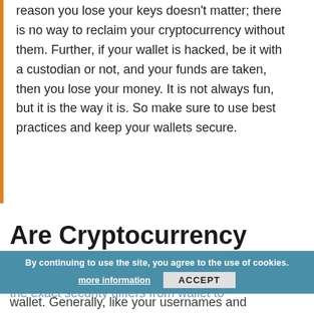reason you lose your keys doesn't matter; there is no way to reclaim your cryptocurrency without them. Further, if your wallet is hacked, be it with a custodian or not, and your funds are taken, then you lose your money. It is not always fun, but it is the way it is. So make sure to use best practices and keep your wallets secure.
Are Cryptocurrency Wallets Secure?
Cryptocurrency wallets are secure, but the exact security differs from wallet to wallet. Generally, like your usernames and passwords,